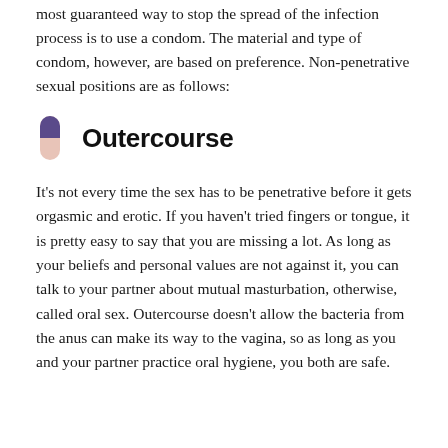most guaranteed way to stop the spread of the infection process is to use a condom. The material and type of condom, however, are based on preference. Non-penetrative sexual positions are as follows:
Outercourse
It’s not every time the sex has to be penetrative before it gets orgasmic and erotic. If you haven’t tried fingers or tongue, it is pretty easy to say that you are missing a lot. As long as your beliefs and personal values are not against it, you can talk to your partner about mutual masturbation, otherwise, called oral sex. Outercourse doesn’t allow the bacteria from the anus can make its way to the vagina, so as long as you and your partner practice oral hygiene, you both are safe.